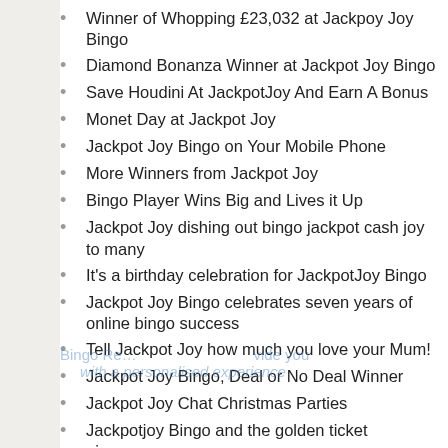Winner of Whopping £23,032 at Jackpoy Joy Bingo
Diamond Bonanza Winner at Jackpot Joy Bingo
Save Houdini At JackpotJoy And Earn A Bonus
Monet Day at Jackpot Joy
Jackpot Joy Bingo on Your Mobile Phone
More Winners from Jackpot Joy
Bingo Player Wins Big and Lives it Up
Jackpot Joy dishing out bingo jackpot cash joy to many
It's a birthday celebration for JackpotJoy Bingo
Jackpot Joy Bingo celebrates seven years of online bingo success
Tell Jackpot Joy how much you love your Mum!
Jackpot Joy Bingo, Deal or No Deal Winner
Jackpot Joy Chat Christmas Parties
Jackpotjoy Bingo and the golden ticket giveaway
Story time at Jackpotjoy Bingo
Jackpotjoy Bingo and the Wheel of Fortune
Jackpotjoy Launches Three new Ads and Offer £1,000 for Winning Feeling Snaps
A Week Of Random Promotions At JackpotJoy Bingo
Jackpotjoy Online Bingo Slot Winner Lands a Pot of Gold